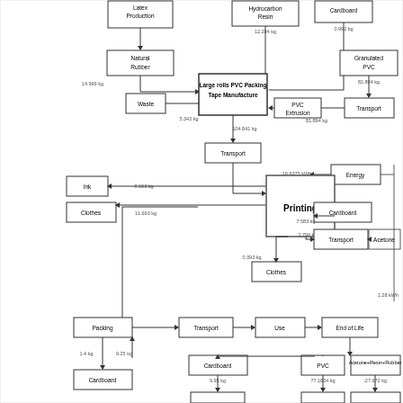[Figure (flowchart): Life cycle assessment flowchart for Large rolls PVC Packing Tape Manufacture. Shows material inputs (Hydrocarbon Resin 12.294 kg, Cardboard 0.992 kg, Granulated PVC 81.894 kg, Natural Rubber 14.969 kg) flowing into production stages: PVC Extrusion, Large rolls PVC Packing Tape Manufacture, Transport (104.841 kg), Printing, Packing, Transport, Use, End of Life. Side outputs include Waste (5.342 kg), Ink (0.153 kg), Clothes (11.693 kg, 0.393 kg), Energy (19.9375 kWh, 1.28 kWh), Cardboard (7.583 kg, 2.796 kg), Transport (3.265 kg), Acetone. End of Life splits into PVC (77.1804 kg), Cardboard (9.95 kg), Acetone+Resin+Rubber (-27.672 kg).]